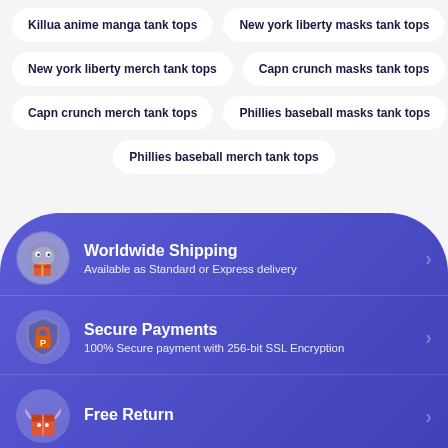Killua anime manga tank tops
New york liberty masks tank tops
New york liberty merch tank tops
Capn crunch masks tank tops
Capn crunch merch tank tops
Phillies baseball masks tank tops
Phillies baseball merch tank tops
Worldwide Shipping
Available as Standard or Express delivery
Secure Payments
100% Secure payment with 256-bit SSL Encryption
Free Return